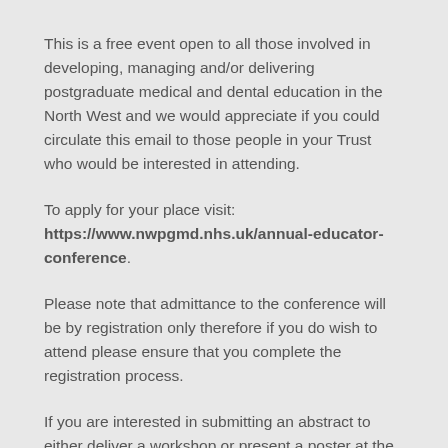This is a free event open to all those involved in developing, managing and/or delivering postgraduate medical and dental education in the North West and we would appreciate if you could circulate this email to those people in your Trust who would be interested in attending.
To apply for your place visit: https://www.nwpgmd.nhs.uk/annual-educator-conference.
Please note that admittance to the conference will be by registration only therefore if you do wish to attend please ensure that you complete the registration process.
If you are interested in submitting an abstract to either deliver a workshop or present a poster at the conference please complete the registration form for further details of how to do this.  All workshop facilitators (and co-facilitators) and poster presenters must have a confirmed place on the conference. The deadline for